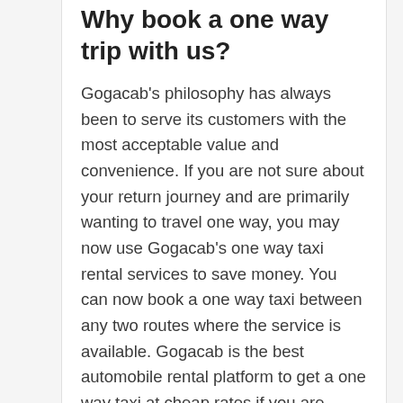Why book a one way trip with us?
Gogacab's philosophy has always been to serve its customers with the most acceptable value and convenience. If you are not sure about your return journey and are primarily wanting to travel one way, you may now use Gogacab's one way taxi rental services to save money. You can now book a one way taxi between any two routes where the service is available. Gogacab is the best automobile rental platform to get a one way taxi at cheap rates if you are looking for drop services. We at Gogacab assure you that we will serve you with the finest in class one way taxi rental service for your reservation.
Special Discounts and Offers on Mumbai airport to Viman nagar Taxi